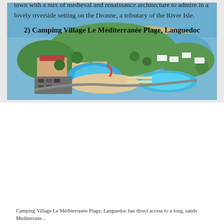town with a mix of medieval and renaissance architecture to admire in a lovely riverside setting on the Dronne, a tributary of the River Isle.
2) Camping Village Le Méditerranée Plage, Languedoc
[Figure (photo): Aerial photograph of Camping Village Le Méditerranée Plage showing swimming pools, beach, Mediterranean sea, lagoon, and campsite facilities surrounded by trees]
Camping Village Le Méditerranée Plage, Languedoc has direct access to a long, sandy Mediterrane...
Camping Village Le Méditerranée Plage lies within walking distance of the bustling resort of Portiragnes Plage, with its chic bars and restaurants. As well as kids' clubs, a play area, bike hire, aqua gym, sports and fitness ...